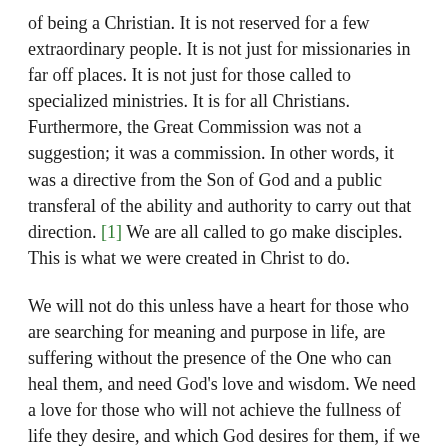of being a Christian. It is not reserved for a few extraordinary people. It is not just for missionaries in far off places. It is not just for those called to specialized ministries. It is for all Christians. Furthermore, the Great Commission was not a suggestion; it was a commission. In other words, it was a directive from the Son of God and a public transferal of the ability and authority to carry out that direction. [1] We are all called to go make disciples. This is what we were created in Christ to do.
We will not do this unless have a heart for those who are searching for meaning and purpose in life, are suffering without the presence of the One who can heal them, and need God's love and wisdom. We need a love for those who will not achieve the fullness of life they desire, and which God desires for them, if we do not reach out and touch their lives. We need a love that will take us out of our comfort zone to the places where people need good news. Frankly, I don't always think I have such a heart. I suspect there are many people like me.